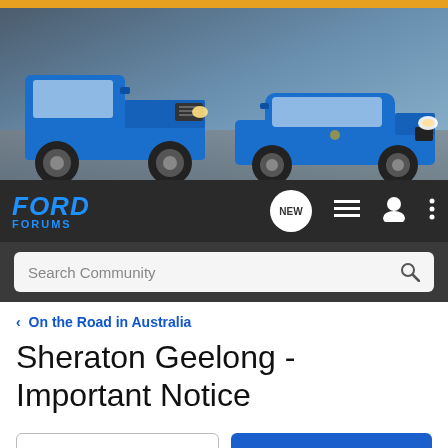[Figure (photo): Ford Forums website banner showing two blue Ford vehicles (F-150 pickup truck on left and Mustang sports car on right) against a grey highway background, with an orange stripe at the top]
FORD FORUMS
Search Community
< On the Road in Australia
Sheraton Geelong - Important Notice
→ Jump to Latest
+ Follow
1 - 13 of 13 Posts